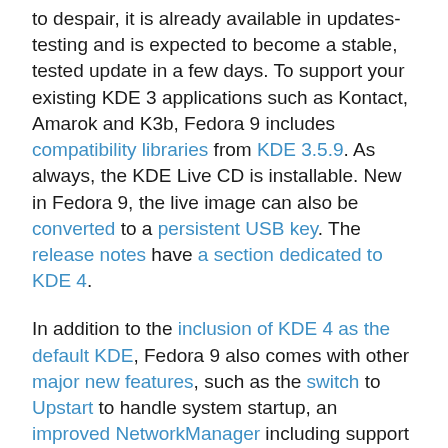to despair, it is already available in updates-testing and is expected to become a stable, tested update in a few days. To support your existing KDE 3 applications such as Kontact, Amarok and K3b, Fedora 9 includes compatibility libraries from KDE 3.5.9. As always, the KDE Live CD is installable. New in Fedora 9, the live image can also be converted to a persistent USB key. The release notes have a section dedicated to KDE 4.
In addition to the inclusion of KDE 4 as the default KDE, Fedora 9 also comes with other major new features, such as the switch to Upstart to handle system startup, an improved NetworkManager including support for mobile broadband and systemwide configuration, a new, fast version of X.Org X11, TexLive replacing tetex, unified spellchecking dictionaries and much more.